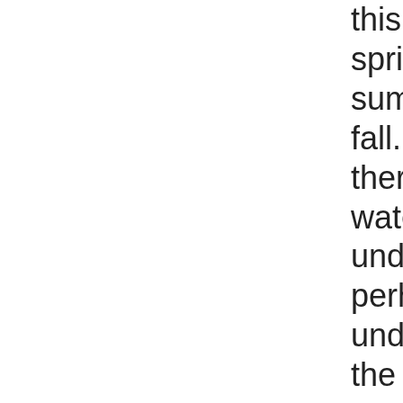this in the spring, summer or fall. I assume there's a small water line leak underground, perhaps underneath the road. The road is cracked along the edge so there may be some freeze/thaw going on. It doesn't seem to be an emergency — the flow seems pretty